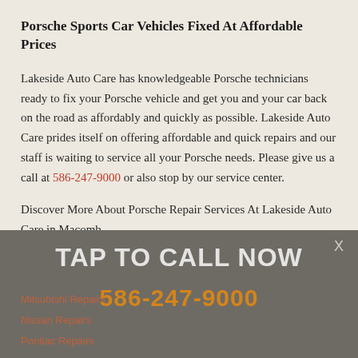Porsche Sports Car Vehicles Fixed At Affordable Prices
Lakeside Auto Care has knowledgeable Porsche technicians ready to fix your Porsche vehicle and get you and your car back on the road as affordably and quickly as possible. Lakeside Auto Care prides itself on offering affordable and quick repairs and our staff is waiting to service all your Porsche needs. Please give us a call at 586-247-9000 or also stop by our service center.
Discover More About Porsche Repair Services At Lakeside Auto Care in Macomb
[Figure (infographic): Dark grey overlay banner with 'TAP TO CALL NOW' in large white text and '586-247-9000' in large orange text, with an X close button in top right corner.]
Mitsubishi Repairs
Nissan Repairs
Pontiac Repairs